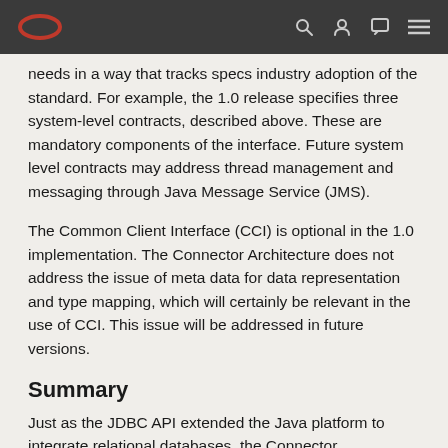Oracle [logo] [search] [user] [chat] [menu]
needs in a way that tracks specs industry adoption of the standard. For example, the 1.0 release specifies three system-level contracts, described above. These are mandatory components of the interface. Future system level contracts may address thread management and messaging through Java Message Service (JMS).
The Common Client Interface (CCI) is optional in the 1.0 implementation. The Connector Architecture does not address the issue of meta data for data representation and type mapping, which will certainly be relevant in the use of CCI. This issue will be addressed in future versions.
Summary
Just as the JDBC API extended the Java platform to integrate relational databases, the Connector Architecture extends the J2EE platform to integrate and extend the EISs that manage valuable processes and data in the